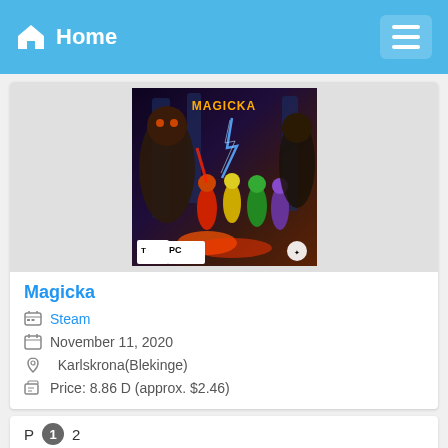Home
[Figure (screenshot): Magicka game cover art showing fantasy characters with elemental magic attacks]
Magicka
Steam
November 11, 2020
Karlskrona(Blekinge)
Price: 8.86 D (approx. $2.46)
Page 1 2